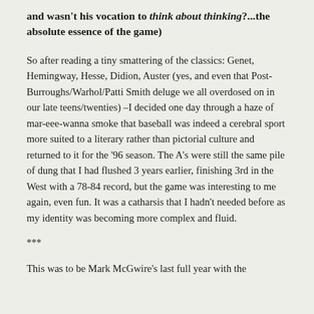and wasn't his vocation to think about thinking?...the absolute essence of the game)
So after reading a tiny smattering of the classics: Genet, Hemingway, Hesse, Didion, Auster (yes, and even that Post-Burroughs/Warhol/Patti Smith deluge we all overdosed on in our late teens/twenties) –I decided one day through a haze of mar-eee-wanna smoke that baseball was indeed a cerebral sport more suited to a literary rather than pictorial culture and returned to it for the '96 season. The A's were still the same pile of dung that I had flushed 3 years earlier, finishing 3rd in the West with a 78-84 record, but the game was interesting to me again, even fun. It was a catharsis that I hadn't needed before as my identity was becoming more complex and fluid.
***
This was to be Mark McGwire's last full year with the